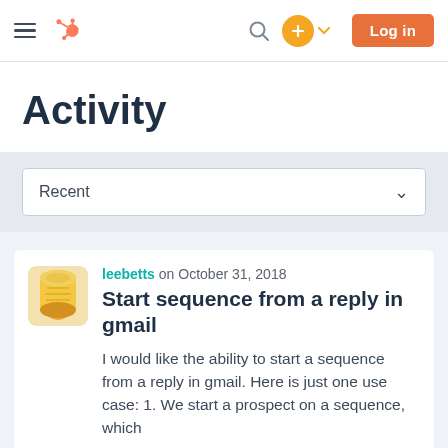[Figure (screenshot): HubSpot community website navigation bar with hamburger menu icon, HubSpot sprocket logo in orange, search icon, orange plus button with caret, and orange Log in button]
Activity
Recent
leebetts on October 31, 2018
Start sequence from a reply in gmail
I would like the ability to start a sequence from a reply in gmail. Here is just one use case: 1. We start a prospect on a sequence, which